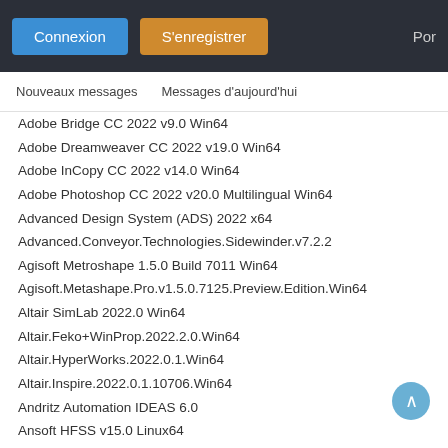Connexion | S'enregistrer | Por
Nouveaux messages   Messages d'aujourd'hui
Adobe Bridge CC 2022 v9.0 Win64
Adobe Dreamweaver CC 2022 v19.0 Win64
Adobe InCopy CC 2022 v14.0 Win64
Adobe Photoshop CC 2022 v20.0 Multilingual Win64
Advanced Design System (ADS) 2022 x64
Advanced.Conveyor.Technologies.Sidewinder.v7.2.2
Agisoft Metroshape 1.5.0 Build 7011 Win64
Agisoft.Metashape.Pro.v1.5.0.7125.Preview.Edition.Win64
Altair SimLab 2022.0 Win64
Altair.Feko+WinProp.2022.2.0.Win64
Altair.HyperWorks.2022.0.1.Win64
Altair.Inspire.2022.0.1.10706.Win64
Andritz Automation IDEAS 6.0
Ansoft HFSS v15.0 Linux64
Antenna Magus 2022.0.v9.0 x64
Applied Imagery Quick Terrain Modeler v8.0.7.2 Win64
Applied.Flow.Technology.Fathom.V10.0.1105.Build.2022.07.13
Applied Imagery Quick Terrain Modeller.v8.0.7.2 USA